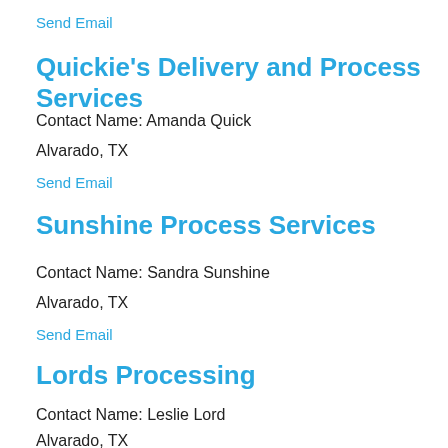Send Email
Quickie's Delivery and Process Services
Contact Name: Amanda Quick
Alvarado, TX
Send Email
Sunshine Process Services
Contact Name: Sandra Sunshine
Alvarado, TX
Send Email
Lords Processing
Contact Name: Leslie Lord
Alvarado, TX